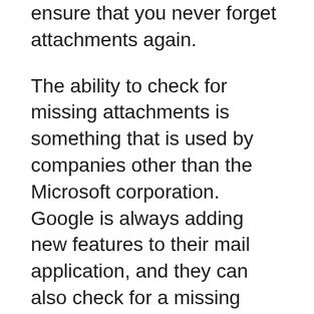ensure that you never forget attachments again.
The ability to check for missing attachments is something that is used by companies other than the Microsoft corporation. Google is always adding new features to their mail application, and they can also check for a missing attachment before you send email. It functions in a nearly identical way to the one that is found in Outlook 2013 and other newer versions of Microsoft Outlook.
One new feature in Outlook 2013 is a weather display at the top of your calendar. You can also disable this option if you find it distracting or unnecessary.